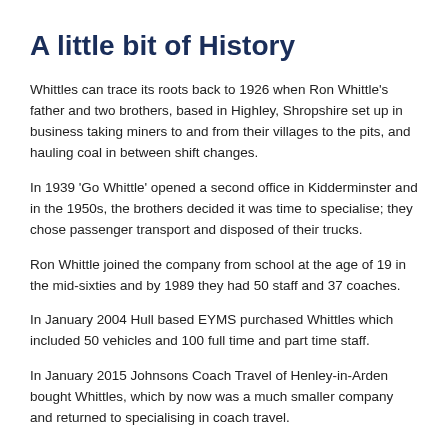A little bit of History
Whittles can trace its roots back to 1926 when Ron Whittle's father and two brothers, based in Highley, Shropshire set up in business taking miners to and from their villages to the pits, and hauling coal in between shift changes.
In 1939 'Go Whittle' opened a second office in Kidderminster and in the 1950s, the brothers decided it was time to specialise; they chose passenger transport and disposed of their trucks.
Ron Whittle joined the company from school at the age of 19 in the mid-sixties and by 1989 they had 50 staff and 37 coaches.
In January 2004 Hull based EYMS purchased Whittles which included 50 vehicles and 100 full time and part time staff.
In January 2015 Johnsons Coach Travel of Henley-in-Arden bought Whittles, which by now was a much smaller company and returned to specialising in coach travel.